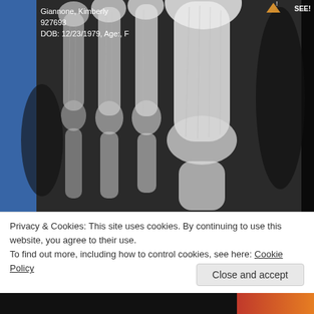[Figure (photo): X-ray image of human foot bones (metatarsals and phalanges), displayed on a medical imaging workstation screen. Patient overlay text shows name, ID, DOB, and window/level settings.]
Privacy & Cookies: This site uses cookies. By continuing to use this website, you agree to their use.
To find out more, including how to control cookies, see here: Cookie Policy
Close and accept